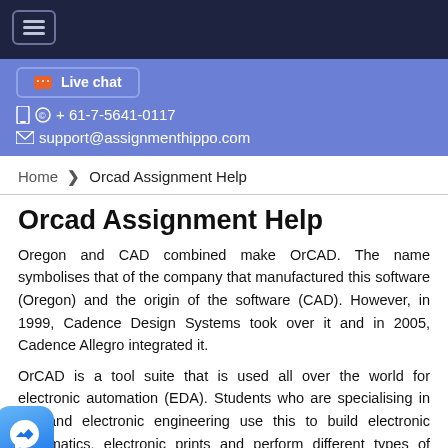Navigation bar with hamburger menu
Live chat | + 61-7-5641-0117 | support@assignmenthippo.com
Home › Orcad Assignment Help
Orcad Assignment Help
Oregon and CAD combined make OrCAD. The name symbolises that of the company that manufactured this software (Oregon) and the origin of the software (CAD). However, in 1999, Cadence Design Systems took over it and in 2005, Cadence Allegro integrated it.
OrCAD is a tool suite that is used all over the world for electronic automation (EDA). Students who are specialising in the and electronic engineering use this to build electronic schematics, electronic prints and perform different types of mixed-